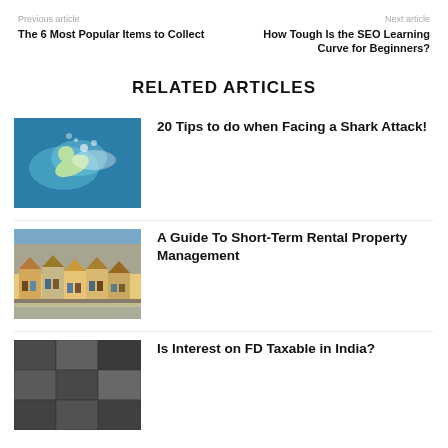Previous article
Next article
The 6 Most Popular Items to Collect
How Tough Is the SEO Learning Curve for Beginners?
RELATED ARTICLES
[Figure (photo): Person swimming underwater]
20 Tips to do when Facing a Shark Attack!
[Figure (photo): Row of houses at dusk]
A Guide To Short-Term Rental Property Management
[Figure (photo): Close-up texture image]
Is Interest on FD Taxable in India?